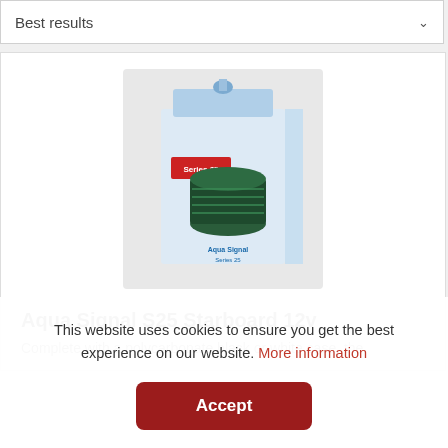Best results
[Figure (photo): Product photo of Aqua Signal S25 Starboard 12v navigation light in retail packaging — a blue and white cardboard box with a Series 25 label, containing a dark cylindrical lens light.]
Aqua Signal S25 Starboard 12v
Complete with a polycarbonate black or white case, the
This website uses cookies to ensure you get the best experience on our website. More information
Accept